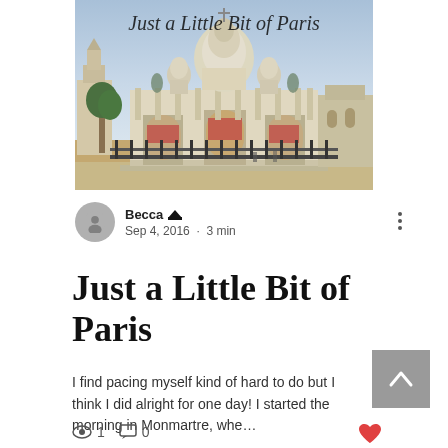[Figure (photo): Photo of Sacré-Cœur Basilica in Montmartre, Paris, with a script font overlay reading 'Just a Little Bit of Paris']
Becca 👑  Sep 4, 2016 · 3 min
Just a Little Bit of Paris
I find pacing myself kind of hard to do but I think I did alright for one day! I started the morning in Monmartre, whe…
👁 1   💬 0   ♥